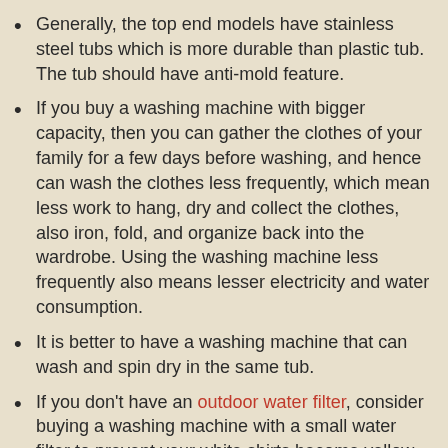Generally, the top end models have stainless steel tubs which is more durable than plastic tub. The tub should have anti-mold feature.
If you buy a washing machine with bigger capacity, then you can gather the clothes of your family for a few days before washing, and hence can wash the clothes less frequently, which mean less work to hang, dry and collect the clothes, also iron, fold, and organize back into the wardrobe. Using the washing machine less frequently also means lesser electricity and water consumption.
It is better to have a washing machine that can wash and spin dry in the same tub.
If you don't have an outdoor water filter, consider buying a washing machine with a small water filter to prevent your white shirts become yellow or brownish due to poor water quality. Even if you have an outdoor water filter, it is no harm to have filter in washing machine too, and the price